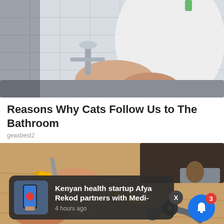[Figure (photo): Person washing hands or working at a bathroom sink with white subway tile backsplash; chrome faucet visible]
Reasons Why Cats Follow Us to The Bathroom
geasbest2
[Figure (photo): Close-up of hands doing woodworking with a pencil, wood shavings, tools including a plane and chisel on a workbench]
Kenyan health startup Afya Rekod partners with Medi-
4 hours ago